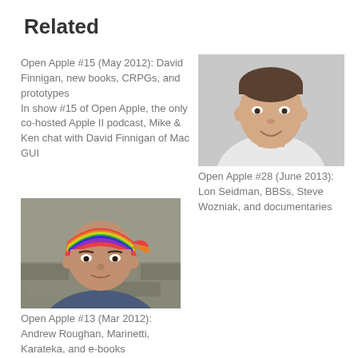Related
Open Apple #15 (May 2012): David Finnigan, new books, CRPGs, and prototypes
In show #15 of Open Apple, the only co-hosted Apple II podcast, Mike & Ken chat with David Finnigan of Mac GUI
[Figure (photo): Portrait photo of a man in a white shirt, smiling, close-up shot]
Open Apple #28 (June 2013): Lon Seidman, BBSs, Steve Wozniak, and documentaries
[Figure (photo): Photo of a man wearing a colorful bandana/headscarf, smiling slightly, outdoors]
Open Apple #13 (Mar 2012): Andrew Roughan, Marinetti, Karateka, and e-books